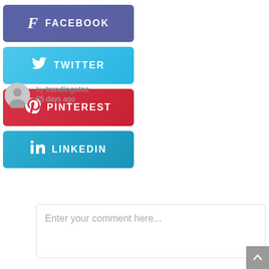[Figure (screenshot): Social share buttons: Facebook (blue-purple), Twitter (light blue), Pinterest (red), LinkedIn (teal blue)]
by trendingatoz
25 days ago
Enter your comment here...
[Figure (other): Back to top arrow button (grey, bottom right)]